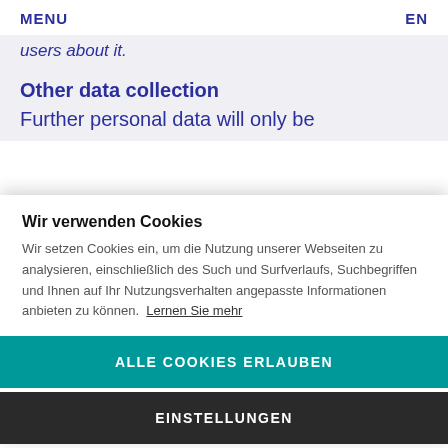MENU   EN
users about it.
Other data collection
Further personal data will only be
Wir verwenden Cookies
Wir setzen Cookies ein, um die Nutzung unserer Webseiten zu analysieren, einschließlich des Such und Surfverlaufs, Suchbegriffen und Ihnen auf Ihr Nutzungsverhalten angepasste Informationen anbieten zu können. Lernen Sie mehr
ALLE COOKIES ERLAUBEN
EINSTELLUNGEN